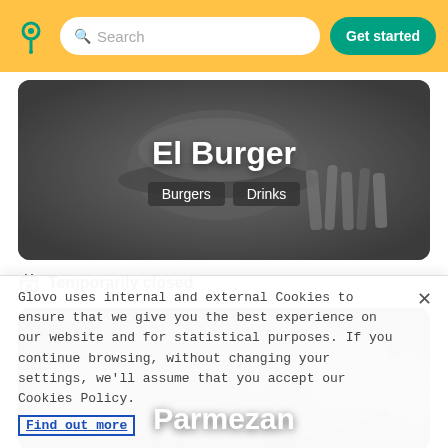Search | Get started
[Figure (photo): El Burger restaurant card showing grayscale image of burger and fries with title 'El Burger' and tags 'Burgers' and 'Drinks']
Temporarily closed
[Figure (photo): Parmezan restaurant card showing grayscale image of breakfast items including croissant, coffee cup, lemon, and egg with title 'Parmezan']
Glovo uses internal and external Cookies to ensure that we give you the best experience on our website and for statistical purposes. If you continue browsing, without changing your settings, we'll assume that you accept our Cookies Policy.
Find out more